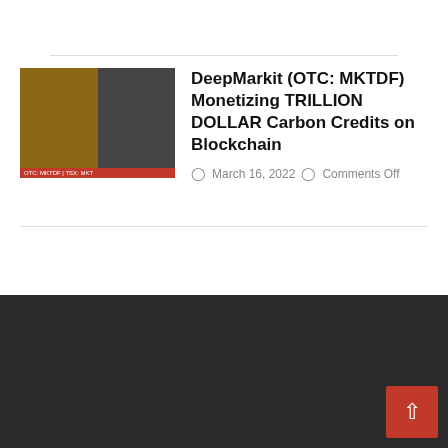[Figure (photo): Thumbnail image showing two men in a split view, with a red banner overlay at the bottom reading OTC: MKTDF / TSX: MKT]
DeepMarkit (OTC: MKTDF) Monetizing TRILLION DOLLAR Carbon Credits on Blockchain
March 16, 2022   Comments Off
NEXT SUPER STOCK
[Figure (photo): Thumbnail image showing a woman with Wall Street Reporter branding in the background]
NEXT SUPER STOCK: XTM, Inc. (OTC: XTMIF) (CSE: PAID) Fintech Platform Rapidly Scaling Revenues in Trillion Dollar Restaurant & Services Market